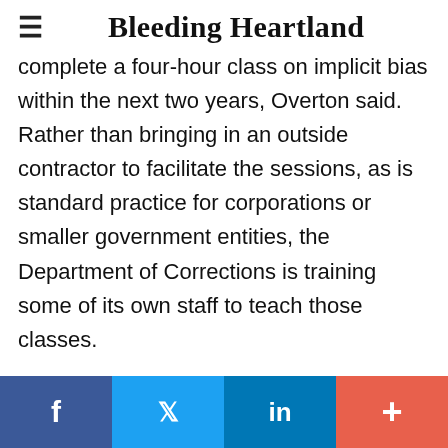Bleeding Heartland
complete a four-hour class on implicit bias within the next two years, Overton said. Rather than bringing in an outside contractor to facilitate the sessions, as is standard practice for corporations or smaller government entities, the Department of Corrections is training some of its own staff to teach those classes.
Robin Bagby, statewide Prison Rape Elimination Act coordinator for the